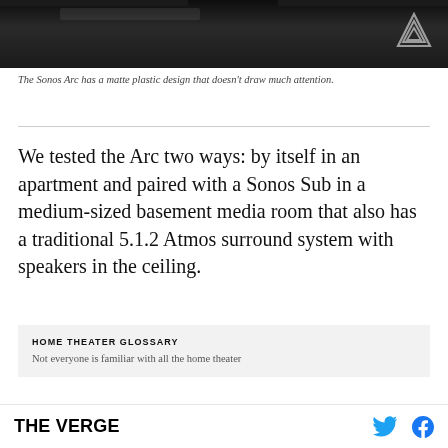[Figure (photo): Dark/black photograph of the Sonos Arc soundbar, showing a matte plastic design in a low-light setting. A triangular watermark logo appears in the top right corner of the image.]
The Sonos Arc has a matte plastic design that doesn't draw much attention.
We tested the Arc two ways: by itself in an apartment and paired with a Sonos Sub in a medium-sized basement media room that also has a traditional 5.1.2 Atmos surround system with speakers in the ceiling.
HOME THEATER GLOSSARY
Not everyone is familiar with all the home theater
THE VERGE